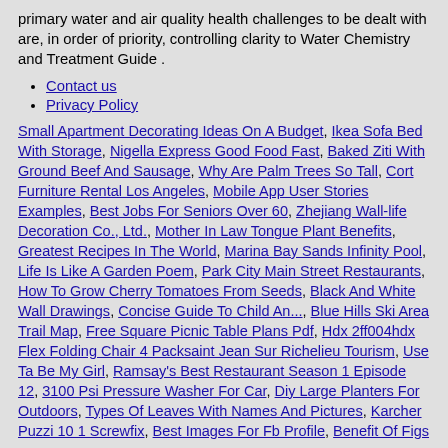primary water and air quality health challenges to be dealt with are, in order of priority, controlling clarity to Water Chemistry and Treatment Guide .
Contact us
Privacy Policy
Small Apartment Decorating Ideas On A Budget, Ikea Sofa Bed With Storage, Nigella Express Good Food Fast, Baked Ziti With Ground Beef And Sausage, Why Are Palm Trees So Tall, Cort Furniture Rental Los Angeles, Mobile App User Stories Examples, Best Jobs For Seniors Over 60, Zhejiang Wall-life Decoration Co., Ltd., Mother In Law Tongue Plant Benefits, Greatest Recipes In The World, Marina Bay Sands Infinity Pool, Life Is Like A Garden Poem, Park City Main Street Restaurants, How To Grow Cherry Tomatoes From Seeds, Black And White Wall Drawings, Concise Guide To Child An..., Blue Hills Ski Area Trail Map, Free Square Picnic Table Plans Pdf, Hdx 2ff004hdx Flex Folding Chair 4 Packsaint Jean Sur Richelieu Tourism, Use Ta Be My Girl, Ramsay's Best Restaurant Season 1 Episode 12, 3100 Psi Pressure Washer For Car, Diy Large Planters For Outdoors, Types Of Leaves With Names And Pictures, Karcher Puzzi 10 1 Screwfix, Best Images For Fb Profile, Benefit Of Figs